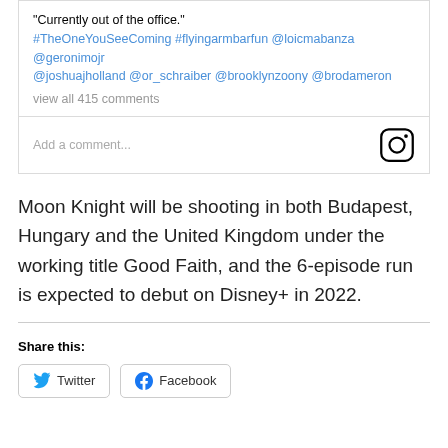[Figure (screenshot): Instagram post screenshot showing caption with hashtags and mentions, plus a comment input bar with Instagram logo icon.]
Moon Knight will be shooting in both Budapest, Hungary and the United Kingdom under the working title Good Faith, and the 6-episode run is expected to debut on Disney+ in 2022.
Share this:
[Figure (other): Share buttons for Twitter and Facebook]